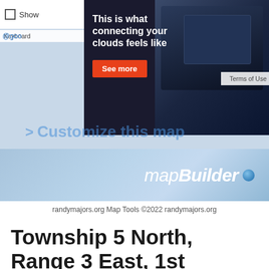[Figure (screenshot): Screenshot of a web page showing Google Maps interface with an advertisement overlay for cloud connectivity ('This is what connecting your clouds feels like' with a 'See more' button), a mapBuilder banner, and partially visible 'Customize this map' text.]
randymajors.org Map Tools ©2022 randymajors.org
Township 5 North, Range 3 East, 1st Principal Meridian, Ohio
View Township 5 North, Range 3 East, 1st Principal Meridian, Ohio Section Township Range map on